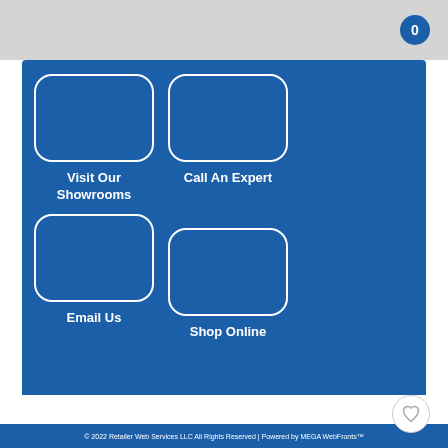[Figure (infographic): Blue section with four rounded rectangle button placeholders: Visit Our Showrooms, Call An Expert, Email Us, Shop Online]
Visit Our Showrooms
Call An Expert
Email Us
Shop Online
[Figure (photo): Partial product image, stainless steel appliance with dark control panel]
© 2022 Retailer Web Services LLC All Rights Reserved | Powered by MEGA WebFronts™